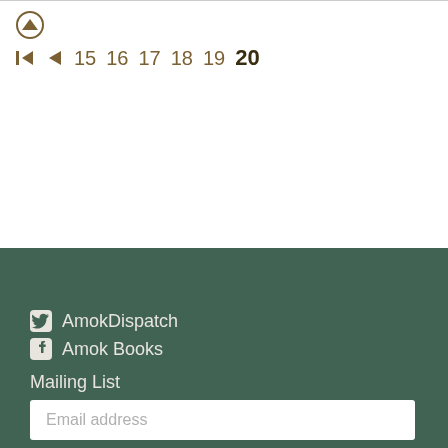15 16 17 18 19 20 (pagination navigation)
AmokDispatch (Twitter)
Amok Books (Facebook)
Mailing List
Email address
Go